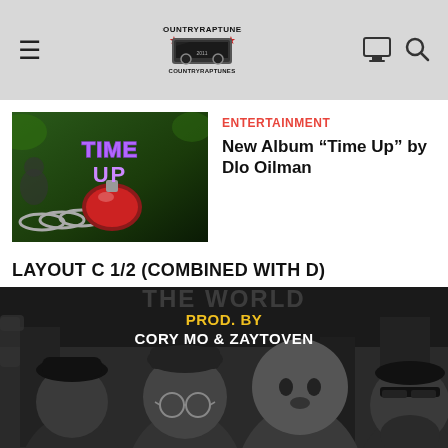COUNTRYRAPTUNES — navigation header with hamburger menu, logo, monitor icon, search icon
[Figure (photo): Album cover for 'Time Up' by Dlo Oilman — colorful graphic with large stylized text 'TIME UP' and imagery of chains and a bomb-like device]
ENTERTAINMENT
New Album “Time Up” by Dlo Oilman
LAYOUT C 1/2 (COMBINED WITH D)
[Figure (photo): Black and white promotional photo of four men, with gold and white text overlay reading 'PROD. BY CORY MO & ZAYTOVEN']